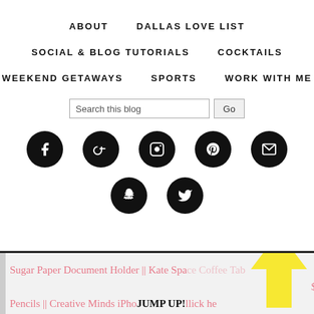ABOUT   DALLAS LOVE LIST
SOCIAL & BLOG TUTORIALS   COCKTAILS
WEEKEND GETAWAYS   SPORTS   WORK WITH ME
[Figure (screenshot): Blog navigation menu with social media icon buttons (Facebook, Google+, Instagram, Pinterest, Email, Snapchat, Twitter), a search box, and a 'JUMP UP!' overlay with yellow arrow]
Sugar Paper Document Holder || Kate Spade Coffee Tab... $10 off Pencils || Creative Minds iPho... JUMP UP! llick he...